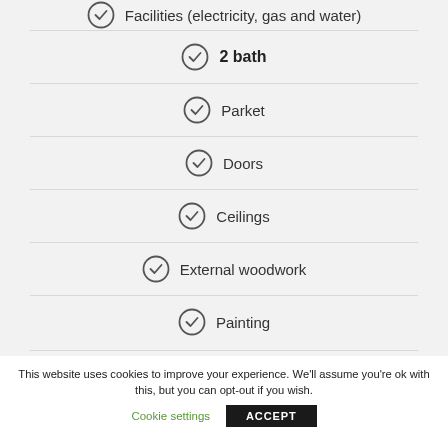Facilities (electricity, gas and water)
2 bath
Parket
Doors
Ceilings
External woodwork
Painting
This website uses cookies to improve your experience. We'll assume you're ok with this, but you can opt-out if you wish.
Cookie settings
ACCEPT